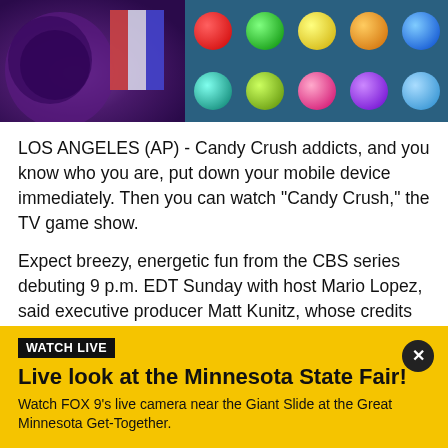[Figure (photo): Photo banner showing colorful Candy Crush game interface with candy pieces on a grid, with a purple/dark background on the left side]
LOS ANGELES (AP) - Candy Crush addicts, and you know who you are, put down your mobile device immediately. Then you can watch "Candy Crush," the TV game show.
Expect breezy, energetic fun from the CBS series debuting 9 p.m. EDT Sunday with host Mario Lopez, said executive producer Matt Kunitz, whose credits include "Wipeout" and "Fear Factor."
[Figure (screenshot): Yellow Watch Live promotional banner for FOX 9 live camera at Minnesota State Fair near the Giant Slide at the Great Minnesota Get-Together]
WATCH LIVE
Live look at the Minnesota State Fair!
Watch FOX 9's live camera near the Giant Slide at the Great Minnesota Get-Together.